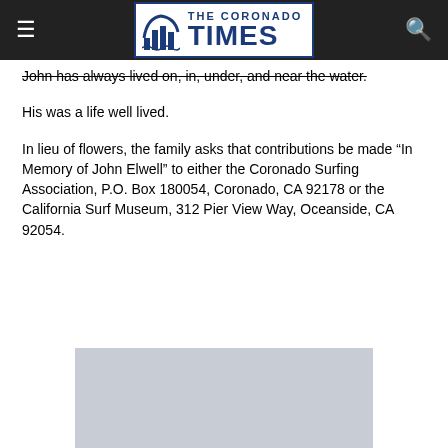THE CORONADO TIMES
John has always lived on, in, under, and near the water.
His was a life well lived.
In lieu of flowers, the family asks that contributions be made “In Memory of John Elwell” to either the Coronado Surfing Association, P.O. Box 180054, Coronado, CA 92178 or the California Surf Museum, 312 Pier View Way, Oceanside, CA 92054.
[Figure (photo): Gray placeholder image block at bottom of page]